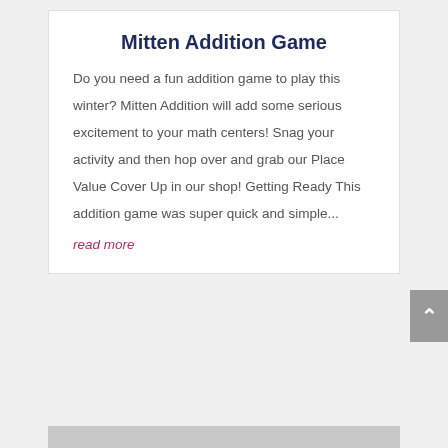Mitten Addition Game
Do you need a fun addition game to play this winter? Mitten Addition will add some serious excitement to your math centers! Snag your activity and then hop over and grab our Place Value Cover Up in our shop! Getting Ready This addition game was super quick and simple...
read more